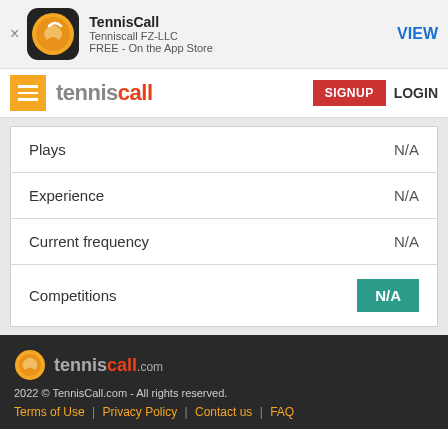[Figure (screenshot): App Store banner with TennisCall app icon, name, developer, price, and VIEW button]
[Figure (screenshot): TennisCall website navigation bar with hamburger menu, logo, SIGNUP and LOGIN buttons]
| Plays | N/A |
| Experience | N/A |
| Current frequency | N/A |
| Competitions | N/A |
[Figure (logo): TennisCall.com footer logo]
2022 © TennisCall.com - All rights reserved.
Terms of Use | Privacy Policy | Contact us | FAQ